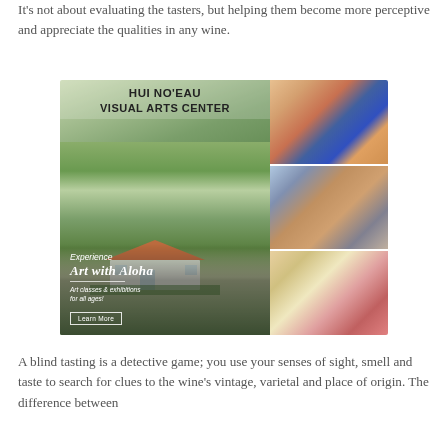It's not about evaluating the tasters, but helping them become more perceptive and appreciate the qualities in any wine.
[Figure (photo): Advertisement for Hui No'eau Visual Arts Center featuring an estate aerial view with green lawns and a historic house, plus three side photos: a person viewing colorful artwork, a woman doing pottery, and children dancing in red dresses. Text reads: 'HUI NO'EAU VISUAL ARTS CENTER', 'Experience Art with Aloha', 'Art classes & exhibitions for all ages!', 'Learn More' button.]
A blind tasting is a detective game; you use your senses of sight, smell and taste to search for clues to the wine's vintage, varietal and place of origin. The difference between